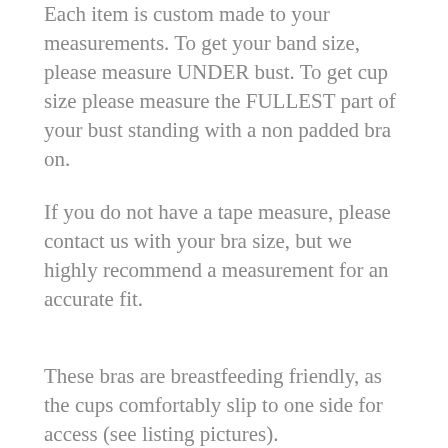Each item is custom made to your measurements. To get your band size, please measure UNDER bust. To get cup size please measure the FULLEST part of your bust standing with a non padded bra on.
If you do not have a tape measure, please contact us with your bra size, but we highly recommend a measurement for an accurate fit.
These bras are breastfeeding friendly, as the cups comfortably slip to one side for access (see listing pictures).
As these are made to measure, if you have any extra requirements such as one cup a different size to the other, shorter or longer straps, please just add a note to your order and we are more than happy to oblige!